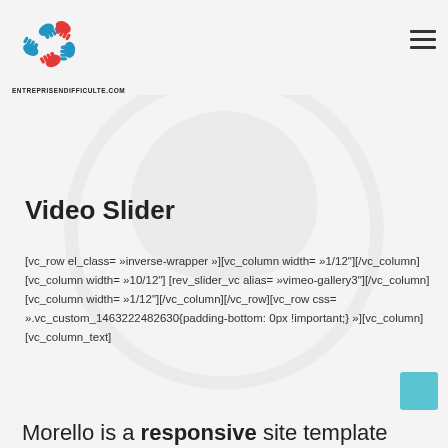ENTREPRISENDIFFICULTE.COM
[Figure (logo): Circular logo with colorful hands (blue and red) arranged in a pinwheel/circle pattern, above text ENTREPRISENDIFFICULTE.COM]
Video Slider
[vc_row el_class= »inverse-wrapper »][vc_column width= »1/12"][/vc_column][vc_column width= »10/12"] [rev_slider_vc alias= »vimeo-gallery3"][/vc_column] [vc_column width= »1/12"][/vc_column][/vc_row][vc_row css= ».vc_custom_1463222482630{padding-bottom: 0px !important;} »][vc_column][vc_column_text]
Morello is a responsive site template